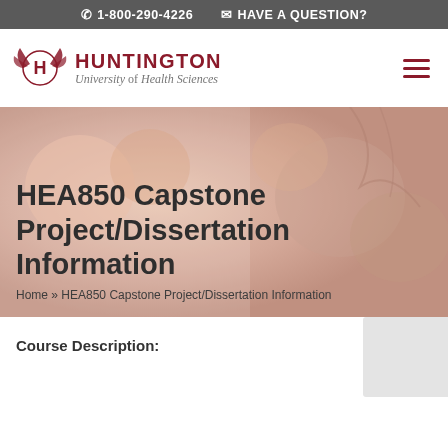1-800-290-4226   HAVE A QUESTION?
[Figure (logo): Huntington University of Health Sciences logo with stylized H and wings]
HEA850 Capstone Project/Dissertation Information
Home » HEA850 Capstone Project/Dissertation Information
Course Description: